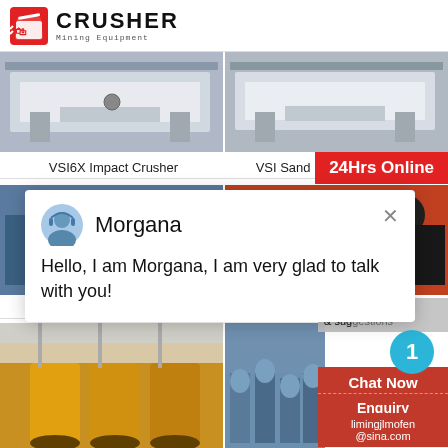[Figure (logo): Crusher Mining Equipment logo with red shopping bag icon and bold CRUSHER text]
[Figure (photo): VSI6X Impact Crusher machine photo]
[Figure (photo): VSI Sand Making Machine photo]
VSI6X Impact Crusher
VSI Sand Making Machine
[Figure (screenshot): Chat popup with avatar of Morgana, close X button, greeting message: Hello, I am Morgana, I am very glad to talk with you!]
[Figure (photo): Ball Mill machine photo]
[Figure (photo): Magnetic separator machine photo]
Ball Mill
Magnetic
24Hrs Online
Need & suggestions
1
Chat Now
Enquiry
limingjlmofen@sina.com
[Figure (photo): Bottom left machine photo (yellow equipment in factory)]
[Figure (photo): Bottom right machine photo (spiral/screw equipment outdoors)]